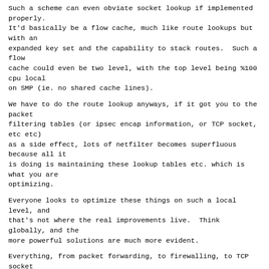Such a scheme can even obviate socket lookup if implemented properly.
It'd basically be a flow cache, much like route lookups but with an
expanded key set and the capability to stack routes.  Such a flow
cache could even be two level, with the top level being %100 cpu local
on SMP (ie. no shared cache lines).
We have to do the route lookup anyways, if it got you to the packet
filtering tables (or ipsec encap information, or TCP socket, etc etc)
as a side effect, lots of netfilter becomes superfluous because all it
is doing is maintaining these lookup tables etc. which is what you are
optimizing.
Everyone looks to optimize these things on such a local level, and
that's not where the real improvements live.  Think globally, and the
more powerful solutions are much more evident.
Everything, from packet forwarding, to firewalling, to TCP socket
packet receive, can be described with routes.  It